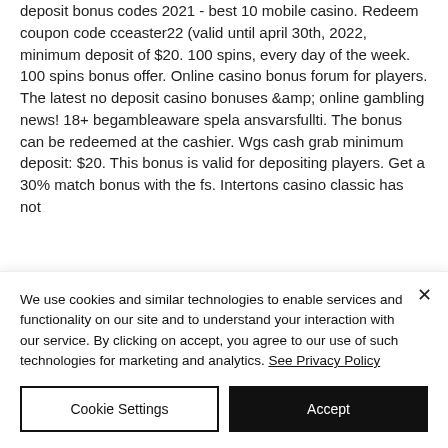deposit bonus codes 2021 - best 10 mobile casino. Redeem coupon code cceaster22 (valid until april 30th, 2022, minimum deposit of $20. 100 spins, every day of the week. 100 spins bonus offer. Online casino bonus forum for players. The latest no deposit casino bonuses &amp; online gambling news! 18+ begambleaware spela ansvarsfullti. The bonus can be redeemed at the cashier. Wgs cash grab minimum deposit: $20. This bonus is valid for depositing players. Get a 30% match bonus with the fs. Intertons casino classic has not
We use cookies and similar technologies to enable services and functionality on our site and to understand your interaction with our service. By clicking on accept, you agree to our use of such technologies for marketing and analytics. See Privacy Policy
Cookie Settings
Accept